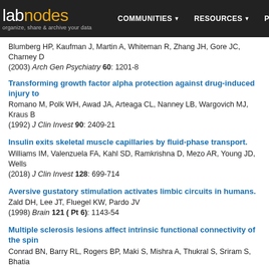labnodes - organize, share & archive your data | COMMUNITIES | RESOURCES | PEOPLE
Blumberg HP, Kaufman J, Martin A, Whiteman R, Zhang JH, Gore JC, Charney D (2003) Arch Gen Psychiatry 60: 1201-8
Transforming growth factor alpha protection against drug-induced injury to
Romano M, Polk WH, Awad JA, Arteaga CL, Nanney LB, Wargovich MJ, Kraus B (1992) J Clin Invest 90: 2409-21
Insulin exits skeletal muscle capillaries by fluid-phase transport.
Williams IM, Valenzuela FA, Kahl SD, Ramkrishna D, Mezo AR, Young JD, Wells (2018) J Clin Invest 128: 699-714
Aversive gustatory stimulation activates limbic circuits in humans.
Zald DH, Lee JT, Fluegel KW, Pardo JV (1998) Brain 121 ( Pt 6): 1143-54
Multiple sclerosis lesions affect intrinsic functional connectivity of the spin
Conrad BN, Barry RL, Rogers BP, Maki S, Mishra A, Thukral S, Sriram S, Bhatia (2018) Brain 141: 1650-1664
Variable disruption of a syntactic processing network in primary progressiv
Wilson SM, DeMarco AT, Henry ML, Gesierich B, Babiak M, Miller BL, Gorno-Ten (2016) Brain 139: 2994-3006
Retraining speech production and fluency in non-fluent/agrammatic primar
Henry ML, Hubbard HI, Grasso SM, Mandelli ML, Wilson SM, Sathishkumar MT, (2018) Brain 141: 1799-1814